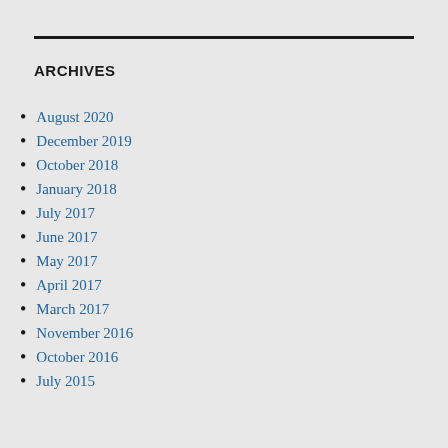ARCHIVES
August 2020
December 2019
October 2018
January 2018
July 2017
June 2017
May 2017
April 2017
March 2017
November 2016
October 2016
July 2015